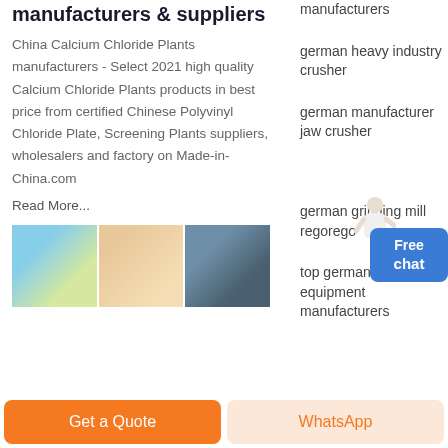manufacturers & suppliers
China Calcium Chloride Plants manufacturers - Select 2021 high quality Calcium Chloride Plants products in best price from certified Chinese Polyvinyl Chloride Plate, Screening Plants suppliers, wholesalers and factory on Made-in-China.com
Read More...
[Figure (photo): Three-panel image strip showing industrial/mining equipment and machinery]
manufacturers
german heavy industry crusher
german manufacturer jaw crusher
german grinding mill regorego
top german mining equipment manufacturers